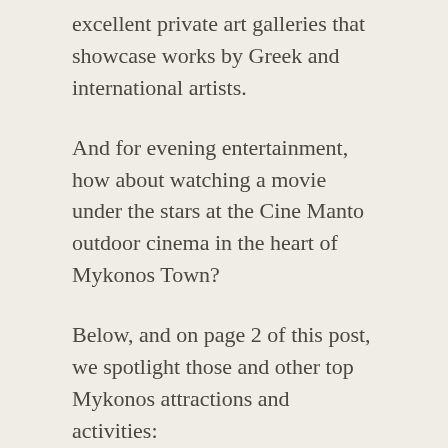excellent private art galleries that showcase works by Greek and international artists.
And for evening entertainment, how about watching a movie under the stars at the Cine Manto outdoor cinema in the heart of Mykonos Town?
Below, and on page 2 of this post, we spotlight those and other top Mykonos attractions and activities: